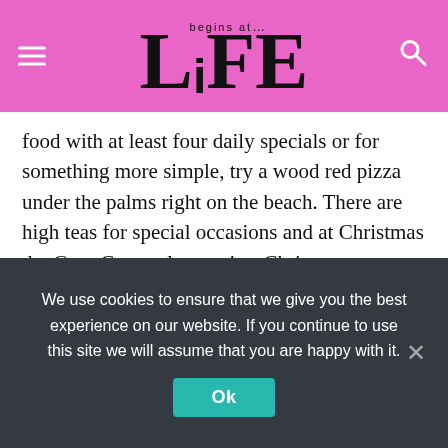LiFE begins at...
food with at least four daily specials or for something more simple, try a wood red pizza under the palms right on the beach. There are high teas for special occasions and at Christmas the Gary Cooper lounge is a Christmas wonderland with 20,000 lights, and Ramona presiding over amazing Christmas family dinners to which all guests are welcome and even get presents.
The Resort is named after the Hollywood movie made here 60 years ago starring Gary Cooper.
We use cookies to ensure that we give you the best experience on our website. If you continue to use this site we will assume that you are happy with it.